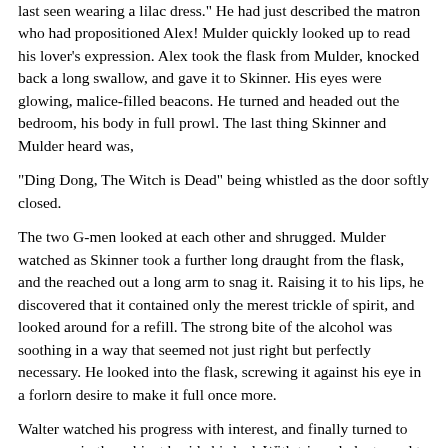last seen wearing a lilac dress." He had just described the matron who had propositioned Alex! Mulder quickly looked up to read his lover's expression. Alex took the flask from Mulder, knocked back a long swallow, and gave it to Skinner. His eyes were glowing, malice-filled beacons. He turned and headed out the bedroom, his body in full prowl. The last thing Skinner and Mulder heard was,
"Ding Dong, The Witch is Dead" being whistled as the door softly closed.
The two G-men looked at each other and shrugged. Mulder watched as Skinner took a further long draught from the flask, and the reached out a long arm to snag it. Raising it to his lips, he discovered that it contained only the merest trickle of spirit, and looked around for a refill. The strong bite of the alcohol was soothing in a way that seemed not just right but perfectly necessary. He looked into the flask, screwing it against his eye in a forlorn desire to make it full once more.
Walter watched his progress with interest, and finally turned to rummage in the cabinet beside his bed. With triumph, he turned to Mulder, waving a 3/4 full bottle of Jack Daniels. Mulder smiled, his first real smile that day, and reached for it, and together, the two of them settled down to trade their horror stories.
***